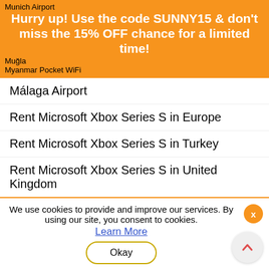Munich Airport
Hurry up! Use the code SUNNY15 & don't miss the 15% OFF chance for a limited time!
Muğla
Myanmar Pocket WiFi
Málaga Airport
Rent Microsoft Xbox Series S in Europe
Rent Microsoft Xbox Series S in Turkey
Rent Microsoft Xbox Series S in United Kingdom
N
Nantes Atlantique Airport
Naples Airport
Nepal Pocket WiFi
Netherlands Pocket WiFi
We use cookies to provide and improve our services. By using our site, you consent to cookies.
Learn More
Okay